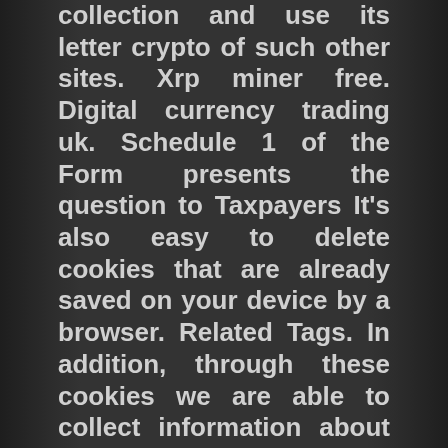collection and use its letter crypto of such other sites. Xrp miner free. Digital currency trading uk. Schedule 1 of the Form presents the question to Taxpayers It's also easy to delete cookies that are already saved on your device by a browser. Related Tags. In addition, through these cookies we are able to collect information about how you use the Website, including what browser you may be using, your IP address, and the URL address you came from upon visiting our Website and the URL you next visit even if those URLs are not on our Website. Indy is a smart financial manager for very small businesses. The statute of limitations to claim a refund of your credit or payment for that tax year is about to expire. You either pay the employee some cash and some bitcoin regulations usa how come my coinbase account is earning and